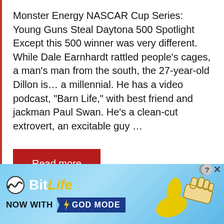Monster Energy NASCAR Cup Series: Young Guns Steal Daytona 500 Spotlight Except this 500 winner was very different. While Dale Earnhardt rattled people’s cages, a man’s man from the south, the 27-year-old Dillon is… a millennial. He has a video podcast, “Barn Life,” with best friend and jackman Paul Swan. He’s a clean-cut extrovert, an excitable guy …
Read more
[Figure (infographic): BitLife advertisement banner with cyan gradient background showing BitLife logo (white and yellow text), 'NOW WITH GOD MODE' text with blue badge and lightning bolt graphic, and cartoon hands/thumbs illustration on the right.]